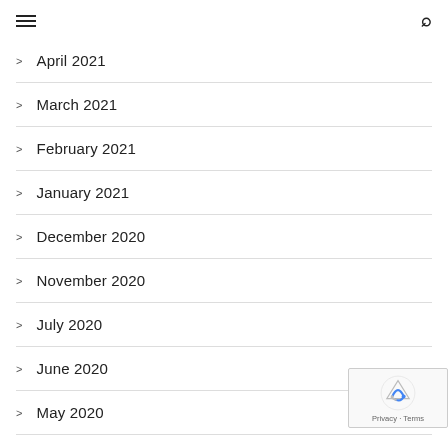navigation header with hamburger menu and search icon
> April 2021
> March 2021
> February 2021
> January 2021
> December 2020
> November 2020
> July 2020
> June 2020
> May 2020
[Figure (logo): reCAPTCHA badge with Google logo, Privacy and Terms links]